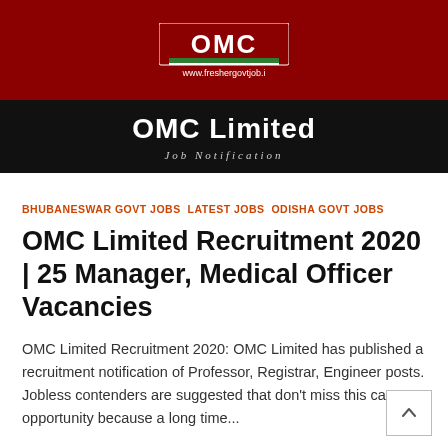[Figure (logo): OMC Limited logo with red background, green and white stripe, and website URL www.freshergovtjob.i shown below]
OMC Limited JOB NOTIFICATION
BHUBANESWAR GOVT JOBS LATEST JOBS ODISHA GOVT JOBS
OMC Limited Recruitment 2020 | 25 Manager, Medical Officer Vacancies
OMC Limited Recruitment 2020: OMC Limited has published a recruitment notification of Professor, Registrar, Engineer posts. Jobless contenders are suggested that don't miss this career opportunity because a long time...